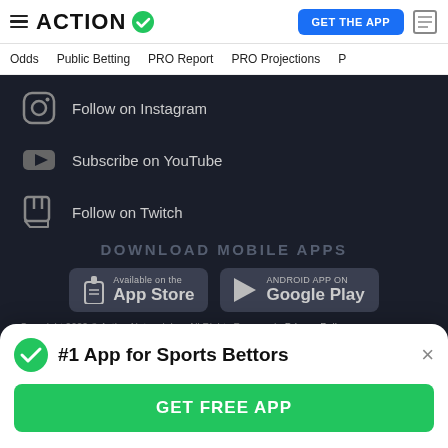ACTION ✓  GET THE APP
Odds  Public Betting  PRO Report  PRO Projections
Follow on Instagram
Subscribe on YouTube
Follow on Twitch
DOWNLOAD MOBILE APPS
Available on the App Store
ANDROID APP ON Google Play
Copyright 2022 © Action Network Inc. All Rights Reserved.  Privacy Policy
#1 App for Sports Bettors
GET FREE APP